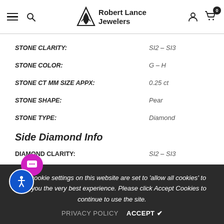Robert Lance Jewelers
STONE CLARITY: SI2 – SI3
STONE COLOR: G – H
STONE CT MM SIZE APPX: 0.25 ct
STONE SHAPE: Pear
STONE TYPE: Diamond
Side Diamond Info
DIAMOND CLARITY: SI2 – SI3
DIAMOND COLOR: G – H
DIAMOND CT WT APPX: 0.36 Ct
DIAMOND SHAPE: Round
The cookie settings on this website are set to 'allow all cookies' to give you the very best experience. Please click Accept Cookies to continue to use the site.
PRIVACY POLICY   ACCEPT ✔